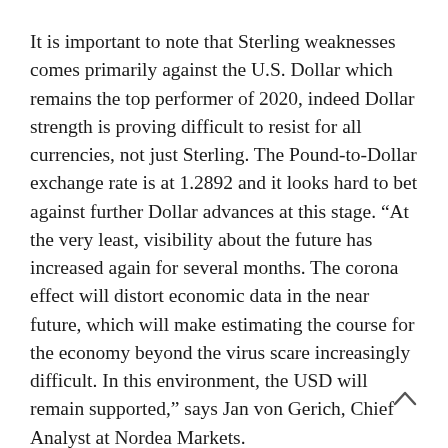It is important to note that Sterling weaknesses comes primarily against the U.S. Dollar which remains the top performer of 2020, indeed Dollar strength is proving difficult to resist for all currencies, not just Sterling. The Pound-to-Dollar exchange rate is at 1.2892 and it looks hard to bet against further Dollar advances at this stage. “At the very least, visibility about the future has increased again for several months. The corona effect will distort economic data in the near future, which will make estimating the course for the economy beyond the virus scare increasingly difficult. In this environment, the USD will remain supported,” says Jan von Gerich, Chief Analyst at Nordea Markets.
Against the Euro, the Pound has fallen but ultimately remains well supported, particularly as the Euro is one of the worst performing major currencies of 2020 courtesy of chronic poor economic data suggesting the Eurozone economy